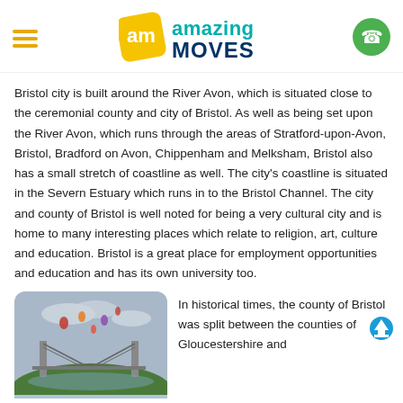Amazing Moves logo with hamburger menu and phone button
Bristol city is built around the River Avon, which is situated close to the ceremonial county and city of Bristol. As well as being set upon the River Avon, which runs through the areas of Stratford-upon-Avon, Bristol, Bradford on Avon, Chippenham and Melksham, Bristol also has a small stretch of coastline as well. The city's coastline is situated in the Severn Estuary which runs in to the Bristol Channel. The city and county of Bristol is well noted for being a very cultural city and is home to many interesting places which relate to religion, art, culture and education. Bristol is a great place for employment opportunities and education and has its own university too.
[Figure (photo): Aerial photo of Bristol showing the Clifton Suspension Bridge with hot air balloons in the sky]
In historical times, the county of Bristol was split between the counties of Gloucestershire and